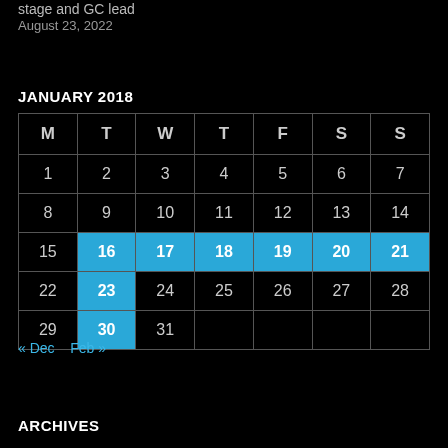stage and GC lead
August 23, 2022
JANUARY 2018
| M | T | W | T | F | S | S |
| --- | --- | --- | --- | --- | --- | --- |
| 1 | 2 | 3 | 4 | 5 | 6 | 7 |
| 8 | 9 | 10 | 11 | 12 | 13 | 14 |
| 15 | 16 | 17 | 18 | 19 | 20 | 21 |
| 22 | 23 | 24 | 25 | 26 | 27 | 28 |
| 29 | 30 | 31 |  |  |  |  |
« Dec   Feb »
ARCHIVES